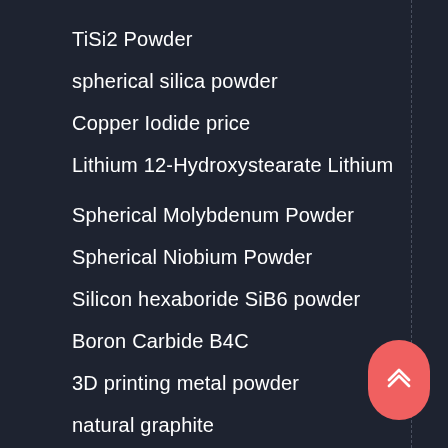TiSi2 Powder
spherical silica powder
Copper Iodide price
Lithium 12-Hydroxystearate Lithium
Spherical Molybdenum Powder
Spherical Niobium Powder
Silicon hexaboride SiB6 powder
Boron Carbide B4C
3D printing metal powder
natural graphite
zinc oxide powder
Ti6Al4V alloy